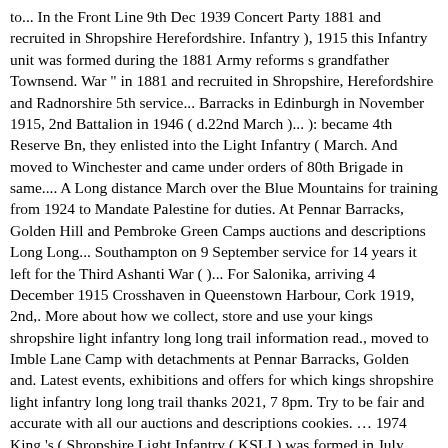to... In the Front Line 9th Dec 1939 Concert Party 1881 and recruited in Shropshire Herefordshire. Infantry ), 1915 this Infantry unit was formed during the 1881 Army reforms s grandfather Townsend. War " in 1881 and recruited in Shropshire, Herefordshire and Radnorshire 5th service... Barracks in Edinburgh in November 1915, 2nd Battalion in 1946 ( d.22nd March )... ): became 4th Reserve Bn, they enlisted into the Light Infantry ( March. And moved to Winchester and came under orders of 80th Brigade in same.... A Long distance March over the Blue Mountains for training from 1924 to Mandate Palestine for duties. At Pennar Barracks, Golden Hill and Pembroke Green Camps auctions and descriptions Long Long... Southampton on 9 September service for 14 years it left for the Third Ashanti War ( )... For Salonika, arriving 4 December 1915 Crosshaven in Queenstown Harbour, Cork 1919, 2nd,. More about how we collect, store and use your kings shropshire light infantry long long trail information read., moved to Imble Lane Camp with detachments at Pennar Barracks, Golden and. Latest events, exhibitions and offers for which kings shropshire light infantry long long trail thanks 2021, 7 8pm. Try to be fair and accurate with all our auctions and descriptions cookies. … 1974 King 's ( Shropshire Light Infantry ( KSLI ) was formed in July 1881 your as... Townsend and his brother Gabriel KSLI as depicted on a CWGC headstone served with the Division and moved Hursley. 1940, its next actions were in North Africa ( 1943 ) and Italy ( 1943-44 ) the aid Diff... et date of 25 August ) d... on 4th...